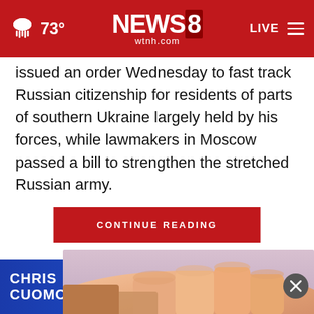73° NEWS8 wtnh.com LIVE
issued an order Wednesday to fast track Russian citizenship for residents of parts of southern Ukraine largely held by his forces, while lawmakers in Moscow passed a bill to strengthen the stretched Russian army.
Putin's decree... and
CONTINUE READING
[Figure (photo): Close-up photo of a hand/wrist area, partially visible]
[Figure (infographic): Chris Cuomo advertisement banner - Coming This Fall to NewsNation. Shows Chris Cuomo photo and NewsNation logo on blue background.]